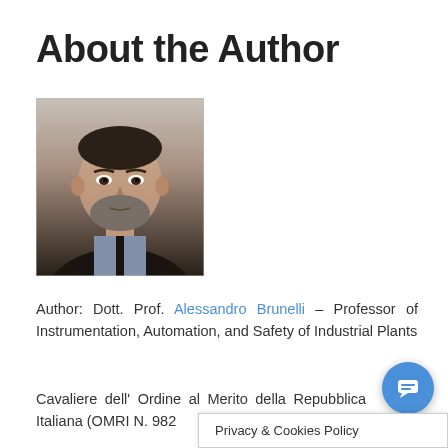About the Author
[Figure (photo): Portrait photo of Dott. Prof. Alessandro Brunelli, an older man with grey beard wearing a dark suit]
Author: Dott. Prof. Alessandro Brunelli – Professor of Instrumentation, Automation, and Safety of Industrial Plants
Cavaliere dell' Ordine al Merito della Repubblica Italiana (OMRI N. 982…)
Privacy & Cookies Policy